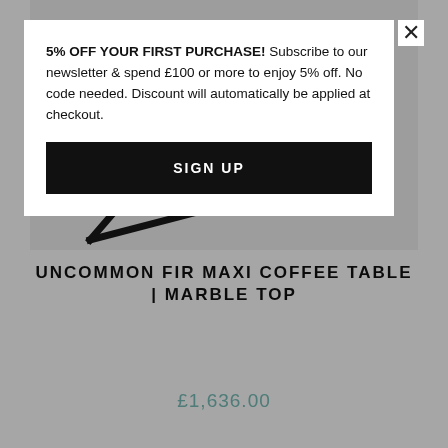[Figure (photo): Close-up of a dark metal coffee table frame with geometric lines on a light grey background — product image]
UNCOMMON FIR MAXI COFFEE TABLE | MARBLE TOP
£1,636.00
5% OFF YOUR FIRST PURCHASE! Subscribe to our newsletter & spend £100 or more to enjoy 5% off. No code needed. Discount will automatically be applied at checkout.
SIGN UP